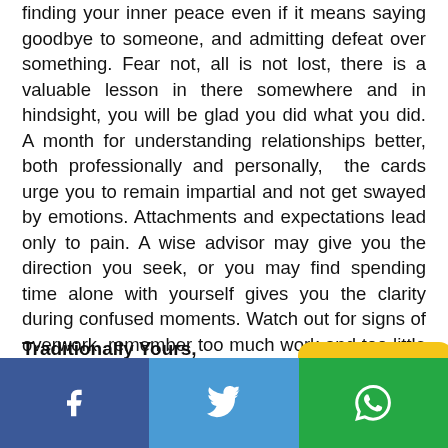finding your inner peace even if it means saying goodbye to someone, and admitting defeat over something. Fear not, all is not lost, there is a valuable lesson in there somewhere and in hindsight, you will be glad you did what you did. A month for understanding relationships better, both professionally and personally, the cards urge you to remain impartial and not get swayed by emotions. Attachments and expectations lead only to pain. A wise advisor may give you the direction you seek, or you may find spending time alone with yourself gives you the clarity during confused moments. Watch out for signs of overwork, remember too much work and too little play can make you ill.
Traditionally Yours,
[Figure (infographic): Social sharing bar with Facebook (blue), Twitter (light blue), and WhatsApp (green) buttons with icons]